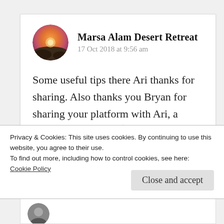Marsa Alam Desert Retreat
17 Oct 2018 at 9:56 am
Some useful tips there Ari thanks for sharing. Also thanks you Bryan for sharing your platform with Ari, a wonderful gesture!😊
Privacy & Cookies: This site uses cookies. By continuing to use this website, you agree to their use.
To find out more, including how to control cookies, see here:
Cookie Policy
Close and accept